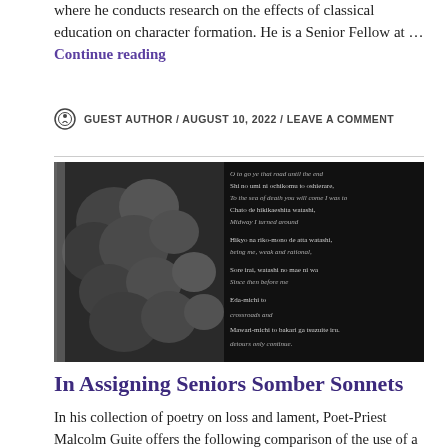where he conducts research on the effects of classical education on character formation. He is a Senior Fellow at … Continue reading
GUEST AUTHOR / AUGUST 10, 2022 / LEAVE A COMMENT
[Figure (photo): Black and white photo of flowers on the left side, overlaid with bilingual Japanese and English poem text on the right dark background. The poem text includes lines such as 'Shi no umi ni ochikomu to oshierare,' 'To the sea of death you will come I was to-', 'Chato de hikikaeshita watashi,', 'Midway I turned around', 'Hikyo na riko-mono de atta watashi,', 'being me, weak and rational,', 'Sore irai, watashi no mae ni wa', 'Since then before me', 'Eda-michi to', 'crossroads and', 'Mawari-michi to bakari ga tsuzuite iru.', 'detours only continue.']
In Assigning Seniors Somber Sonnets
In his collection of poetry on loss and lament, Poet-Priest Malcolm Guite offers the following comparison of the use of a Drone in some forms of music to the